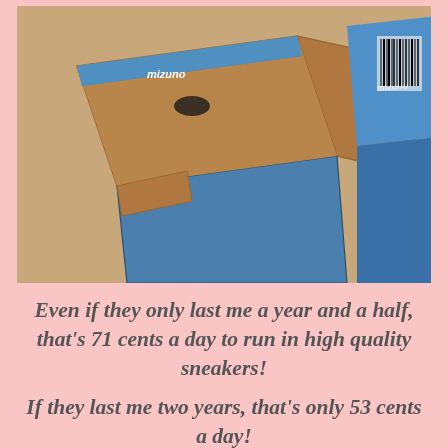[Figure (photo): Photo of Mizuno shoe boxes stacked on a surface, showing blue branded boxes with Mizuno logo and a barcode label visible]
Even if they only last me a year and a half, that's 71 cents a day to run in high quality sneakers!

If they last me two years, that's only 53 cents a day!

Or my math could be completely off...
[Figure (photo): Photo of pink and purple Mizuno running shoes inside a blue Mizuno shoe box lined with white tissue paper, with a price tag visible]